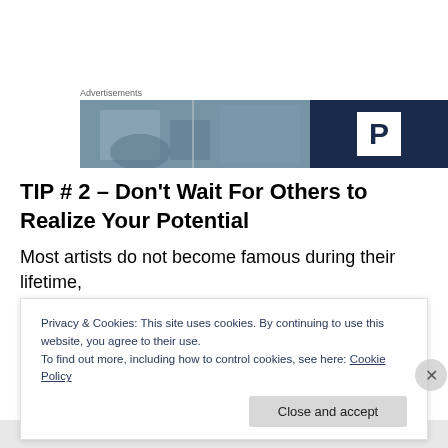Advertisements
[Figure (photo): Advertisement banner with a blurred outdoor/parking scene on the left and a dark navy blue panel with a white 'P' logo on the right]
TIP # 2 – Don't Wait For Others to Realize Your Potential
Most artists do not become famous during their lifetime,
Privacy & Cookies: This site uses cookies. By continuing to use this website, you agree to their use.
To find out more, including how to control cookies, see here: Cookie Policy
Close and accept